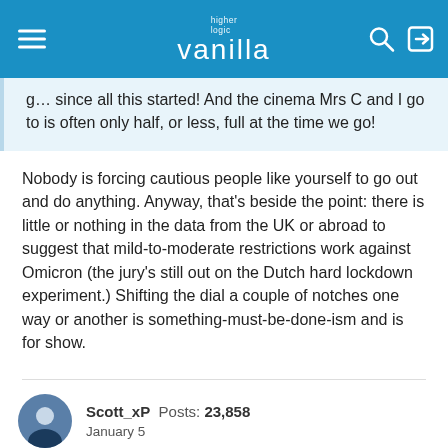higher logic vanilla
g… since all this started! And the cinema Mrs C and I go to is often only half, or less, full at the time we go!
Nobody is forcing cautious people like yourself to go out and do anything. Anyway, that's beside the point: there is little or nothing in the data from the UK or abroad to suggest that mild-to-moderate restrictions work against Omicron (the jury's still out on the Dutch hard lockdown experiment.) Shifting the dial a couple of notches one way or another is something-must-be-done-ism and is for show.
Scott_xP  Posts: 23,858  January 5